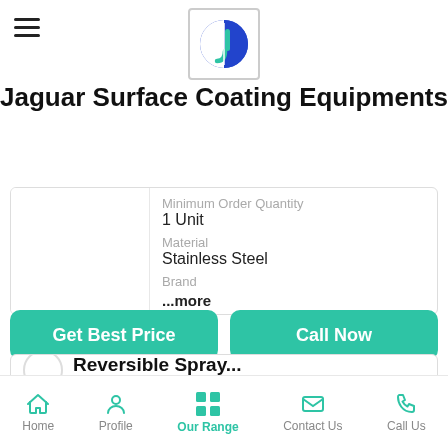[Figure (logo): Jaguar Surface Coating Equipments logo — blue circle with letter J and vertical line]
Jaguar Surface Coating Equipments
Minimum Order Quantity
1 Unit
Material
Stainless Steel
Brand
...more
Get Best Price
Call Now
Reversible Spray...
Home   Profile   Our Range   Contact Us   Call Us